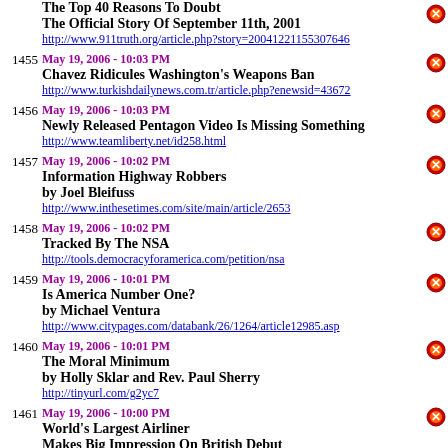1454 (partial) The Top 40 Reasons To Doubt The Official Story Of September 11th, 2001 http://www.911truth.org/article.php?story=20041221155307646
1455 May 19, 2006 - 10:03 PM Chavez Ridicules Washington's Weapons Ban http://www.turkishdailynews.com.tr/article.php?enewsid=43672
1456 May 19, 2006 - 10:03 PM Newly Released Pentagon Video Is Missing Something http://www.teamliberty.net/id258.html
1457 May 19, 2006 - 10:02 PM Information Highway Robbers by Joel Bleifuss http://www.inthesetimes.com/site/main/article/2653
1458 May 19, 2006 - 10:02 PM Tracked By The NSA http://tools.democracyforamerica.com/petition/nsa
1459 May 19, 2006 - 10:01 PM Is America Number One? by Michael Ventura http://www.citypages.com/databank/26/1264/article12985.asp
1460 May 19, 2006 - 10:01 PM The Moral Minimum by Holly Sklar and Rev. Paul Sherry http://tinyurl.com/g2yc7
1461 May 19, 2006 - 10:00 PM World's Largest Airliner Makes Big Impression On British Debut The Double-Decker Airbus A380, Designed For 555 Passengers But With Room For 800 by Alastair Dalton http://news.scotsman.com/international.cfm?id=743262006
1462 May 19, 2006 - 10:00 PM (partial)